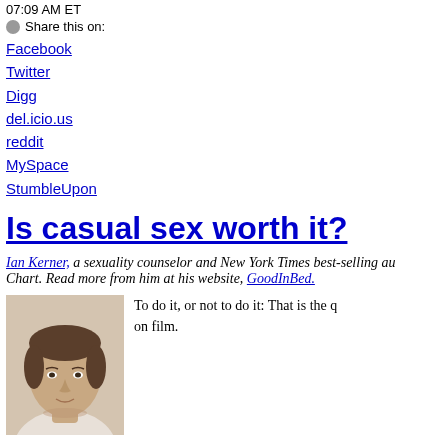07:09 AM ET
Share this on:
Facebook
Twitter
Digg
del.icio.us
reddit
MySpace
StumbleUpon
Is casual sex worth it?
Ian Kerner, a sexuality counselor and New York Times best-selling au... Chart. Read more from him at his website, GoodInBed.
[Figure (photo): Headshot photo of Ian Kerner, a man with short brown hair, wearing a light-colored shirt, looking at the camera with a slight smile.]
To do it, or not to do it: That is the q... on film.